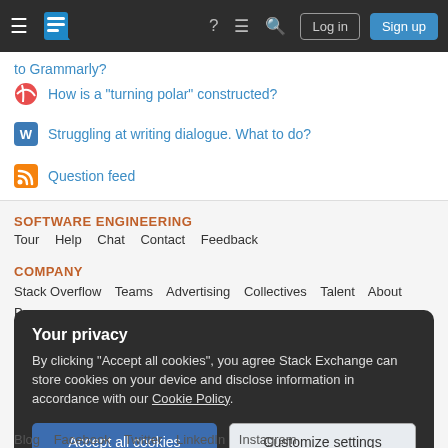Stack Exchange navigation bar with Log in and Sign up buttons
to Grammarly?
How is a "turning polar" constructed?
Struggling at writing dialogue. What to do?
Question feed
SOFTWARE ENGINEERING
Tour  Help  Chat  Contact  Feedback
COMPANY
Stack Overflow  Teams  Advertising  Collectives  Talent  About  Press
Your privacy
By clicking "Accept all cookies", you agree Stack Exchange can store cookies on your device and disclose information in accordance with our Cookie Policy.
Accept all cookies   Customize settings
Blog  Facebook  Twitter  LinkedIn  Instagram